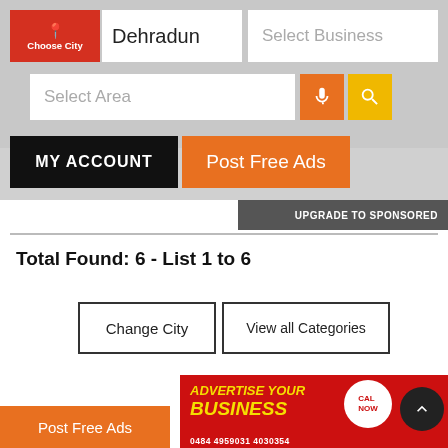[Figure (screenshot): Website UI with Choose City button, Dehradun city input, Select Business input, Select Area input, microphone button, search button, MY ACCOUNT button, Post Free Ads button, UPGRADE TO SPONSORED button, divider, Total Found label, Change City and View all Categories buttons, Advertise Your Business banner ad, Post Free Ads button at bottom left]
Dehradun
Select Business
Select Area
MY ACCOUNT
Post Free Ads
UPGRADE TO SPONSORED
Total Found: 6 - List 1 to 6
Change City
View all Categories
Advertise Your Business
Post Free Ads
0484 4959031 4030354